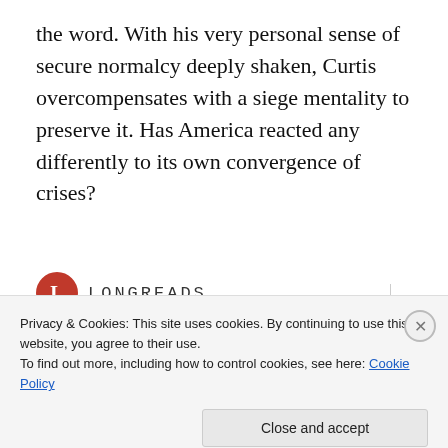the word. With his very personal sense of secure normalcy deeply shaken, Curtis overcompensates with a siege mentality to preserve it. Has America reacted any differently to its own convergence of crises?
[Figure (logo): Longreads logo: red circle with white letter L, followed by LONGREADS text in monospace]
Bringing you the best stories on the web since 2009.
Start reading
Privacy & Cookies: This site uses cookies. By continuing to use this website, you agree to their use.
To find out more, including how to control cookies, see here: Cookie Policy
Close and accept